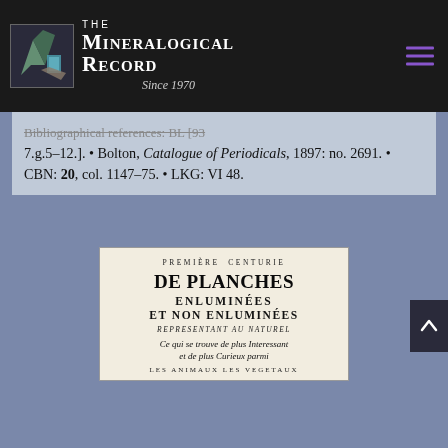The Mineralogical Record — Since 1970
Bibliographical references: BL [93 7.g.5-12.]. • Bolton, Catalogue of Periodicals, 1897: no. 2691. • CBN: 20, col. 1147-75. • LKG: VI 48.
[Figure (photo): Title page of 'Première Centurie de Planches Enluminées et Non Enluminées, Representant au Naturel, Ce qui se trouve de plus Interessant et de plus Curieux parmi les Animaux les Vegetaux' — an antique French natural history book title page in black and white.]